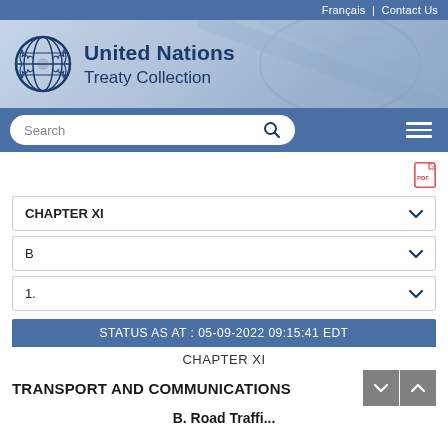Français | Contact Us
[Figure (logo): United Nations Treaty Collection banner with UN emblem logo and world map background]
United Nations Treaty Collection
Search
CHAPTER XI
B
1.
STATUS AS AT : 05-09-2022 09:15:41 EDT
CHAPTER XI
TRANSPORT AND COMMUNICATIONS
B. Road Traffi...